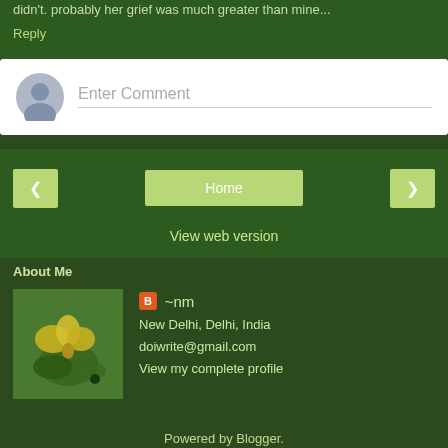didn't. probably her grief was much greater than mine...
Reply
[Figure (screenshot): Comment input box with grey avatar icon and 'Enter Comment' placeholder text on white background]
[Figure (screenshot): Navigation buttons: left arrow, Home, right arrow]
View web version
About Me
[Figure (photo): Yellow flower (buttercup) on green background - profile photo for ~nm]
~nm
New Delhi, Delhi, India
doiwrite@gmail.com
View my complete profile
Powered by Blogger.